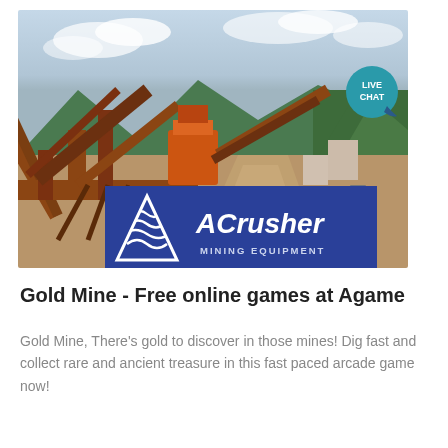[Figure (photo): Photograph of a mining equipment site with conveyor belts and machinery, mountains and forest in the background. ACrusher Mining Equipment logo overlaid at bottom center of photo. A 'LIVE CHAT' speech bubble icon is in the top-right corner.]
Gold Mine - Free online games at Agame
Gold Mine, There's gold to discover in those mines! Dig fast and collect rare and ancient treasure in this fast paced arcade game now!